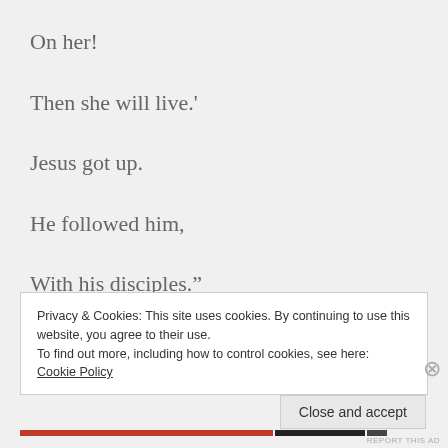On her!
Then she will live.'
Jesus got up.
He followed him,
With his disciples.”
Privacy & Cookies: This site uses cookies. By continuing to use this website, you agree to their use.
To find out more, including how to control cookies, see here: Cookie Policy
Close and accept